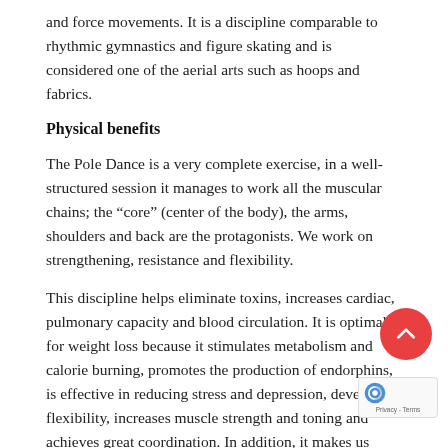and force movements. It is a discipline comparable to rhythmic gymnastics and figure skating and is considered one of the aerial arts such as hoops and fabrics.
Physical benefits
The Pole Dance is a very complete exercise, in a well-structured session it manages to work all the muscular chains; the “core” (center of the body), the arms, shoulders and back are the protagonists. We work on strengthening, resistance and flexibility.
This discipline helps eliminate toxins, increases cardiac, pulmonary capacity and blood circulation. It is optimal for weight loss because it stimulates metabolism and calorie burning, promotes the production of endorphins, is effective in reducing stress and depression, develops flexibility, increases muscle strength and toning and achieves great coordination. In addition, it makes us more aware develop good eating and social habits in search of a